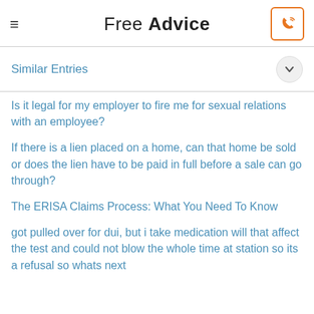Free Advice
Similar Entries
Is it legal for my employer to fire me for sexual relations with an employee?
If there is a lien placed on a home, can that home be sold or does the lien have to be paid in full before a sale can go through?
The ERISA Claims Process: What You Need To Know
got pulled over for dui, but i take medication will that affect the test and could not blow the whole time at station so its a refusal so whats next